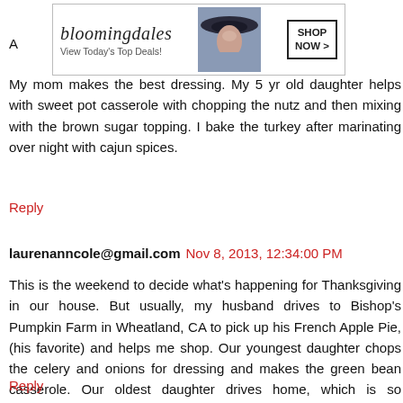[Figure (other): Bloomingdale's advertisement banner: logo text 'bloomingdales', tagline 'View Today's Top Deals!', photo of woman in hat, 'SHOP NOW >' button]
My mom makes the best dressing. My 5 yr old daughter helps with sweet pot casserole with chopping the nutz and then mixing with the brown sugar topping. I bake the turkey after marinating over night with cajun spices.
Reply
laurenanncole@gmail.com  Nov 8, 2013, 12:34:00 PM
This is the weekend to decide what's happening for Thanksgiving in our house. But usually, my husband drives to Bishop's Pumpkin Farm in Wheatland, CA to pick up his French Apple Pie, (his favorite) and helps me shop. Our youngest daughter chops the celery and onions for dressing and makes the green bean casserole. Our oldest daughter drives home, which is so important to us. She talks a lot :) and keeps me company while I cook. It's just the four of us and we keep it pretty simple.
Reply